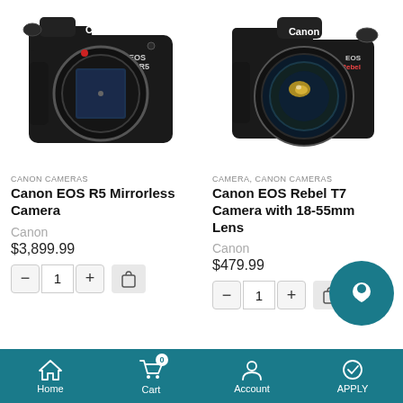[Figure (photo): Canon EOS R5 mirrorless camera body, front view, black]
[Figure (photo): Canon EOS Rebel T7 DSLR camera with 18-55mm lens, front view, black]
CANON CAMERAS
CAMERA, CANON CAMERAS
Canon EOS R5 Mirrorless Camera
Canon EOS Rebel T7 Camera with 18-55mm Lens
Canon
Canon
$3,899.99
$479.99
Home  Cart  Account  APPLY